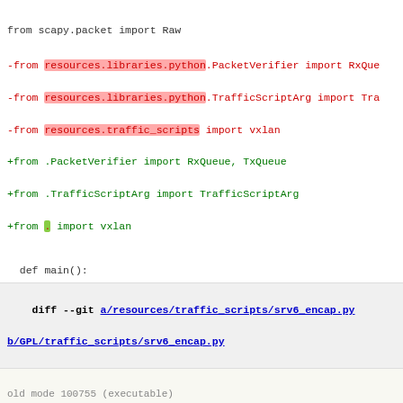from scapy.packet import Raw

-from resources.libraries.python.PacketVerifier import RxQue
-from resources.libraries.python.TrafficScriptArg import Tra
-from resources.traffic_scripts import vxlan
+from .PacketVerifier import RxQueue, TxQueue
+from .TrafficScriptArg import TrafficScriptArg
+from . import vxlan


  def main():
diff --git a/resources/traffic_scripts/srv6_encap.py b/GPL/traffic_scripts/srv6_encap.py
old mode 100755 (executable)
new mode 100644 (file)
similarity index 98%
rename from resources/traffic_scripts/srv6_encap.py
rename to GPL/traffic_scripts/srv6_encap.py
index 506a245..9db9538
--- a/resources/traffic_scripts/srv6_encap.py
+++ b/GPL/traffic_scripts/srv6_encap.py
@@ -22,8 +22,8 @@ from scapy.layers.inet6 import IPv6, ICMPv
 from scapy.layers.l2 import Ether
 from scapy.packet import Raw

-from resources.libraries.python.PacketVerifier import RxQue
-from resources.libraries.python.TrafficScriptArg import Tra
+from .PacketVerifier import RxQueue, TxQueue
+from .TrafficScriptArg import TrafficScriptArg